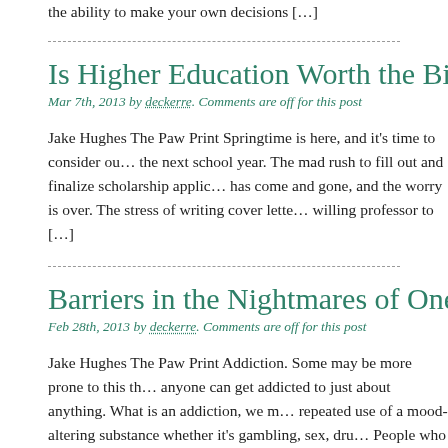the ability to make your own decisions […]
Is Higher Education Worth the Bill at the Summi…
Mar 7th, 2013 by deckerre. Comments are off for this post
Jake Hughes The Paw Print Springtime is here, and it's time to consider ou… the next school year. The mad rush to fill out and finalize scholarship applic… has come and gone, and the worry is over. The stress of writing cover lette… willing professor to […]
Barriers in the Nightmares of One's Addiction
Feb 28th, 2013 by deckerre. Comments are off for this post
Jake Hughes The Paw Print Addiction. Some may be more prone to this th… anyone can get addicted to just about anything. What is an addiction, we m… repeated use of a mood-altering substance whether it's gambling, sex, dru… People who are addicts do almost anything to get […]
A Raging Brain or Simple Hardwiring from the S…
Feb 21st, 2013 by deckerre. Comments are off for this post